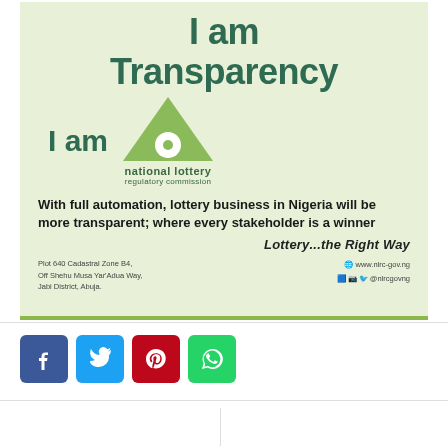[Figure (infographic): National Lottery Regulatory Commission promotional poster on light green background. Top text reads 'I am Transparency', below shows 'I am' alongside the NLRC triangle logo with circle. Quote: 'With full automation, lottery business in Nigeria will be more transparent; where every stakeholder is a winner'. Tagline: 'Lottery...the Right Way'. Address and website at bottom.]
[Figure (infographic): Social media share buttons: Facebook (blue), Twitter (cyan), Pinterest (red), WhatsApp (green)]